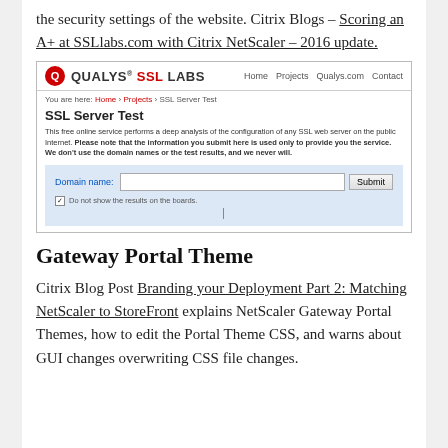the security settings of the website. Citrix Blogs – Scoring an A+ at SSLlabs.com with Citrix NetScaler – 2016 update.
[Figure (screenshot): Screenshot of the Qualys SSL Labs website showing the SSL Server Test page with a domain name input field and Submit button.]
Gateway Portal Theme
Citrix Blog Post Branding your Deployment Part 2: Matching NetScaler to StoreFront explains NetScaler Gateway Portal Themes, how to edit the Portal Theme CSS, and warns about GUI changes overwriting CSS file changes.